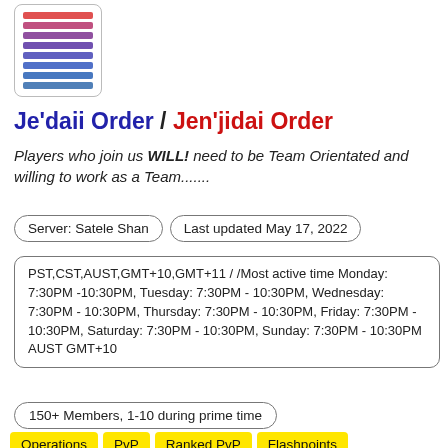[Figure (logo): Horizontal colored stripes logo in a rounded rectangle box, stripes ranging from red to purple/blue]
Je'daii Order / Jen'jidai Order
Players who join us WILL! need to be Team Orientated and willing to work as a Team.......
Server: Satele Shan
Last updated May 17, 2022
PST,CST,AUST,GMT+10,GMT+11 / /Most active time Monday: 7:30PM -10:30PM, Tuesday: 7:30PM - 10:30PM, Wednesday: 7:30PM - 10:30PM, Thursday: 7:30PM - 10:30PM, Friday: 7:30PM - 10:30PM, Saturday: 7:30PM - 10:30PM, Sunday: 7:30PM - 10:30PM AUST GMT+10
150+ Members, 1-10 during prime time
Operations
PvP
Ranked PvP
Flashpoints
Conquest
Roleplay
Social/hanging out
Leveling
Crafting
Datacron Hunting
World Bosses
Dueling / Tournaments
Galactic Starfighter